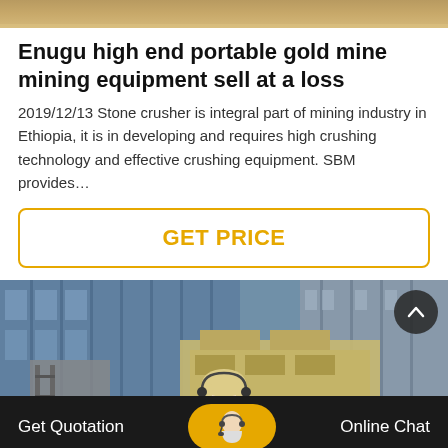[Figure (photo): Top banner image showing sandy/earthy colored surface texture]
Enugu high end portable gold mine mining equipment sell at a loss
2019/12/13 Stone crusher is integral part of mining industry in Ethiopia, it is in developing and requires high crushing technology and effective crushing equipment. SBM provides…
[Figure (other): GET PRICE button with orange border]
[Figure (photo): Photo of industrial building with glass facade and large mining crusher equipment, woman with headset in foreground]
Get Quotation  Online Chat